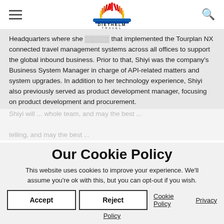[Figure (logo): Diethelm Travel logo — sunburst rays in red/orange/yellow above blue waves, with 'DIETHELM TRAVEL' text below]
Headquarters where she ... that implemented the Tourplan NX connected travel management systems across all offices to support the global inbound business. Prior to that, Shiyi was the company's Business System Manager in charge of API-related matters and system upgrades. In addition to her technology experience, Shiyi also previously served as product development manager, focusing on product development and procurement.
Shiyi will ... whole team, and may the best ...
Our Cookie Policy
This website uses cookies to improve your experience. We'll assume you're ok with this, but you can opt-out if you wish.
Accept | Reject | Cookie Policy | Privacy Policy